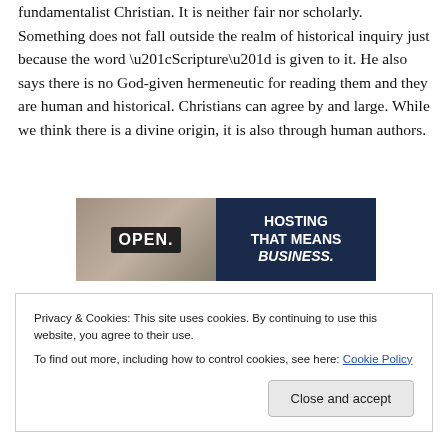fundamentalist Christian. It is neither fair nor scholarly. Something does not fall outside the realm of historical inquiry just because the word “Scripture” is given to it. He also says there is no God-given hermeneutic for reading them and they are human and historical. Christians can agree by and large. While we think there is a divine origin, it is also through human authors.
[Figure (photo): Advertisement banner showing a hand holding an OPEN sign on the left side, and a dark navy blue background on the right with white bold text reading HOSTING THAT MEANS BUSINESS.]
Privacy & Cookies: This site uses cookies. By continuing to use this website, you agree to their use.
To find out more, including how to control cookies, see here: Cookie Policy
Close and accept